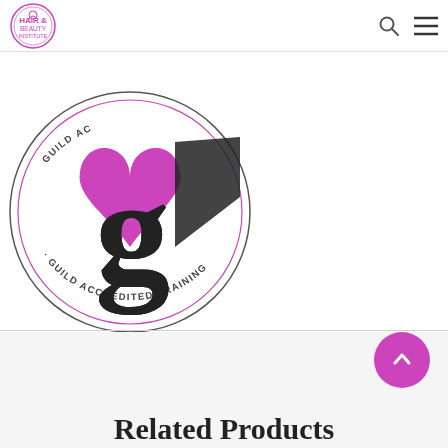Hair & Beauty Institute — navigation header with logo, search and menu icons
[Figure (logo): Guild Accredited Training circular logo with 'g' and heart motif, text reading 'GUILD ACCREDITED TRAINING' and 'GUILD AC…' around the circle border in black and magenta]
The GPBT (The Guild of Professional Beauty Therapists) also offer insurance cover
[Figure (other): Scroll-to-top circular magenta button with upward chevron arrow]
Related Products